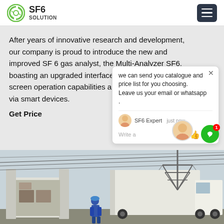SF6 SOLUTION
After years of innovative research and development, our company is proud to introduce the new and improved SF 6 gas analyst, the Multi-Analyzer SF6, boasting an upgraded interface on a 7" color touch screen operation capabilities allow convenient control via smart devices.
Get Price
we can send you catalogue and price list for you choosing.
Leave us your email or whatsapp .
SF6 Expert    just now
Write a
[Figure (photo): Outdoor industrial scene showing a truck with open rear cargo doors near power transmission infrastructure. A person in work attire visible near vehicles. High voltage power lines and a transmission tower visible in the background under hazy sky.]